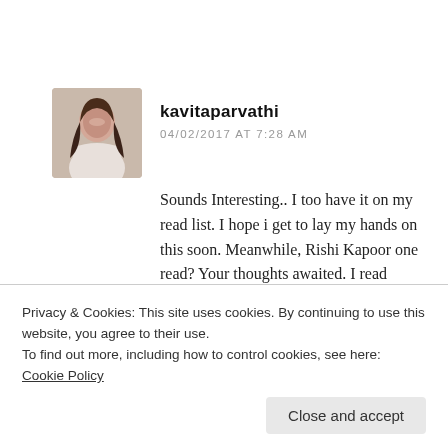kavitaparvathi
04/02/2017 AT 7:28 AM
Sounds Interesting.. I too have it on my read list. I hope i get to lay my hands on this soon. Meanwhile, Rishi Kapoor one read? Your thoughts awaited. I read Lanka's Princess here's my thoughts :
Privacy & Cookies: This site uses cookies. By continuing to use this website, you agree to their use.
To find out more, including how to control cookies, see here: Cookie Policy
Close and accept